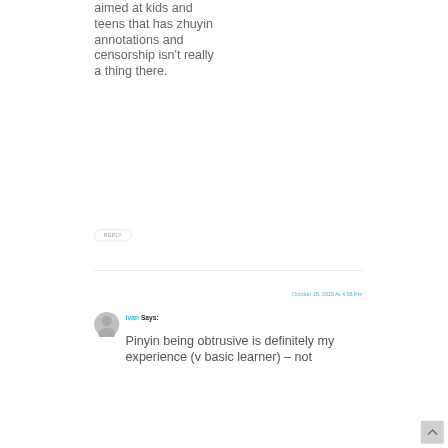aimed at kids and teens that has zhuyin annotations and censorship isn't really a thing there.
REPLY
October 15, 2015 At 4:58 Pm
Ivan Says:
Pinyin being obtrusive is definitely my experience (v basic learner) – not